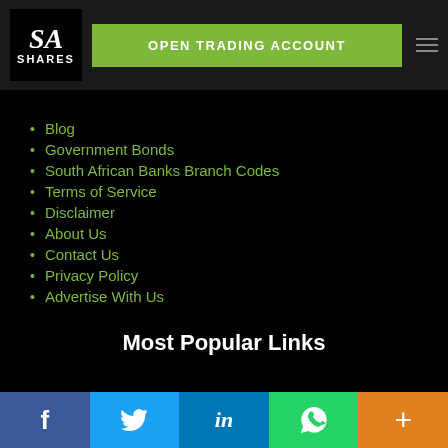[Figure (logo): SA Shares logo — black box with italic 'SA' above 'SHARES' in white text]
OPEN TRADING ACCOUNT
Blog
Government Bonds
South African Banks Branch Codes
Terms of Service
Disclaimer
About Us
Contact Us
Privacy Policy
Advertise With Us
Most Popular Links
[Figure (illustration): Horizontal divider line with a chain link icon in the center]